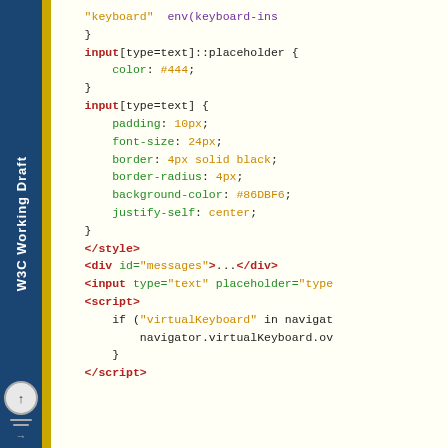W3C Working Draft
Code snippet from a W3C Working Draft showing CSS and HTML markup for virtual keyboard API demo, including input[type=text]::placeholder, input[type=text] styles, and script using virtualKeyboard API.